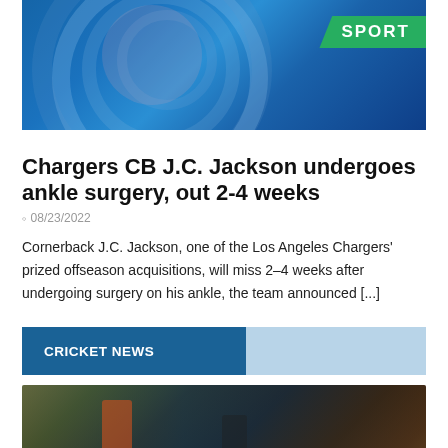[Figure (photo): Sports broadcast graphic with blue swirl background and green SPORT badge in the top right corner]
Chargers CB J.C. Jackson undergoes ankle surgery, out 2-4 weeks
08/23/2022
Cornerback J.C. Jackson, one of the Los Angeles Chargers' prized offseason acquisitions, will miss 2–4 weeks after undergoing surgery on his ankle, the team announced [...]
CRICKET NEWS
[Figure (photo): Cricket match photo showing a bearded player in orange jersey and another player in green and black, with crowd in background]